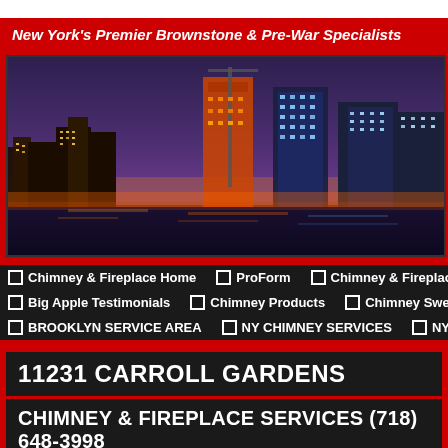New York's Premier Brownstone & Pre-War Specialists
[Figure (photo): Panoramic night view of the New York City skyline with illuminated skyscrapers reflected in water, purple-hued sky]
Chimney & Fireplace Home
ProForm
Chimney & Fireplace Intro
Chim…
Big Apple Testimonials
Chimney Products
Chimney Sweep Promotions
BROOKLYN SERVICE AREA
NY CHIMNEY SERVICES
NYC MANHATTAN BY…
11231 CARROLL GARDENS
CHIMNEY & FIREPLACE SERVICES (718) 648-3998